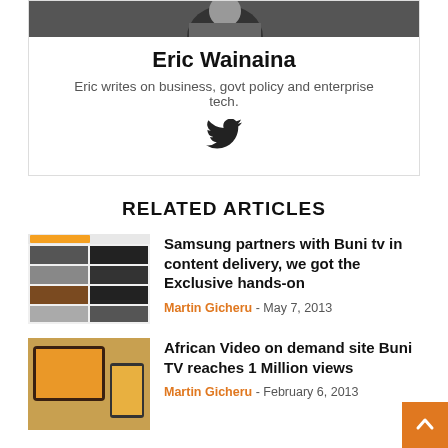[Figure (photo): Author photo of Eric Wainaina, close-up portrait]
Eric Wainaina
Eric writes on business, govt policy and enterprise tech.
[Figure (illustration): Twitter bird icon]
RELATED ARTICLES
[Figure (screenshot): Screenshot of Buni TV website showing video thumbnails in a grid layout]
Samsung partners with Buni tv in content delivery, we got the Exclusive hands-on
Martin Gicheru - May 7, 2013
[Figure (photo): Photo showing a tablet and smartphone displaying Buni TV website]
African Video on demand site Buni TV reaches 1 Million views
Martin Gicheru - February 6, 2013